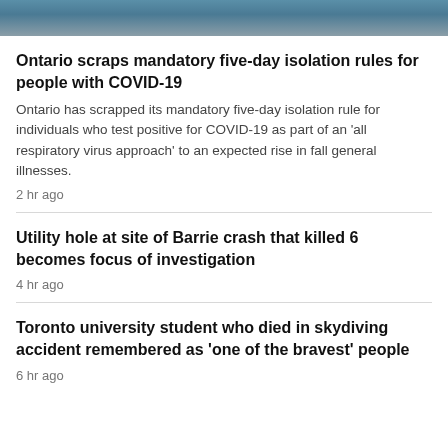[Figure (photo): Partial photo at top of page, showing what appears to be a blue-gloved hand or blue object against a blurred background.]
Ontario scraps mandatory five-day isolation rules for people with COVID-19
Ontario has scrapped its mandatory five-day isolation rule for individuals who test positive for COVID-19 as part of an 'all respiratory virus approach' to an expected rise in fall general illnesses.
2 hr ago
Utility hole at site of Barrie crash that killed 6 becomes focus of investigation
4 hr ago
Toronto university student who died in skydiving accident remembered as 'one of the bravest' people
6 hr ago